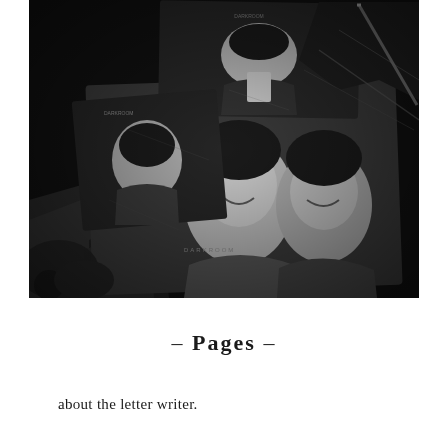[Figure (photo): Black and white photograph showing multiple overlapping photos on a dark surface. The photos appear to show young Asian men/boys smiling and posing together. The images have a vintage, worn look with scratches and creases visible. Some photos show individual portraits, others show group shots of people laughing and leaning together.]
- Pages -
about the letter writer.